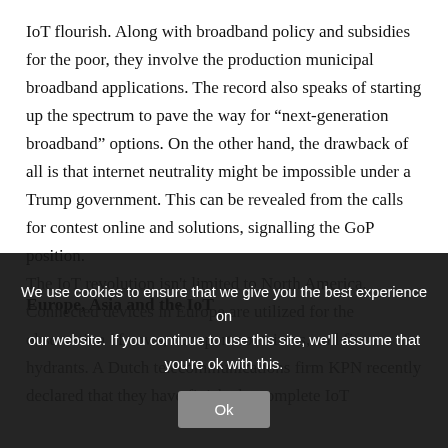IoT flourish. Along with broadband policy and subsidies for the poor, they involve the production municipal broadband applications. The record also speaks of starting up the spectrum to pave the way for “next-generation broadband” options. On the other hand, the drawback of all is that internet neutrality might be impossible under a Trump government. This can be revealed from the calls for contest online and solutions, signalling the GoP position.
Europe, Asia and the IoT
The IoT revolution isn't limited to North America. Connected devices in Europe are utilized for the observation of cows, transport containers, and fire hydrants. A Dutch telecommunications firm KPN recently declared that they have finished a complete IoT
We use cookies to ensure that we give you the best experience on our website. If you continue to use this site, we'll assume that you're ok with this.